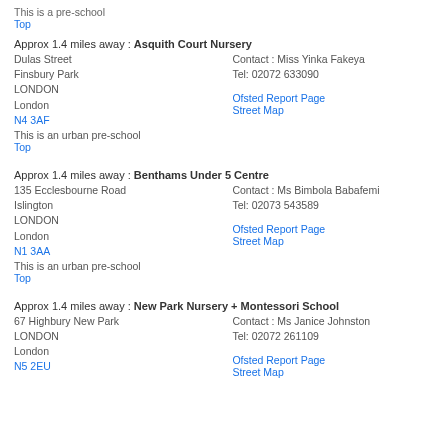This is a pre-school
Top
Approx 1.4 miles away : Asquith Court Nursery
Dulas Street
Finsbury Park
LONDON
London
N4 3AF
Contact : Miss Yinka Fakeya
Tel: 02072 633090

Ofsted Report Page
Street Map
This is an urban pre-school
Top
Approx 1.4 miles away : Benthams Under 5 Centre
135 Ecclesbourne Road
Islington
LONDON
London
N1 3AA
Contact : Ms Bimbola Babafemi
Tel: 02073 543589

Ofsted Report Page
Street Map
This is an urban pre-school
Top
Approx 1.4 miles away : New Park Nursery + Montessori School
67 Highbury New Park
LONDON
London
N5 2EU
Contact : Ms Janice Johnston
Tel: 02072 261109

Ofsted Report Page
Street Map